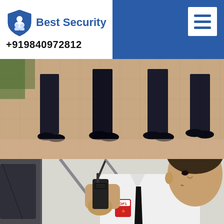[Figure (logo): Best Security company logo with shield icon and contact number +919840972812]
[Figure (photo): Three security guards standing in uniform, lower body visible showing formal black trousers and shoes on a tiled floor]
[Figure (photo): Security officer in white shirt with GF1 Canadian badge, holding a walkie-talkie radio near a car window]